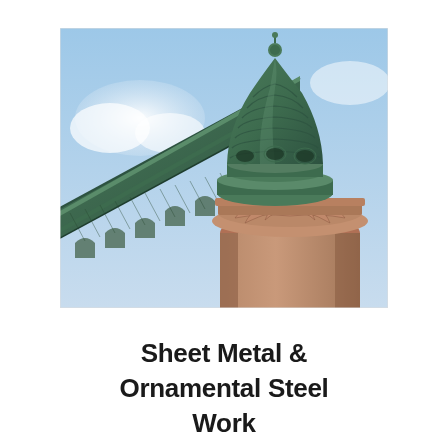[Figure (photo): Upward-angle photograph of a historic building's ornate corner tower featuring a patinated green copper dome with layered ring decorations and a finial at the top, supported by a carved Romanesque capital atop a terracotta/brick cylindrical column. The cornice displays decorative arched moldings. Blue sky with light clouds in the background.]
Sheet Metal & Ornamental Steel Work